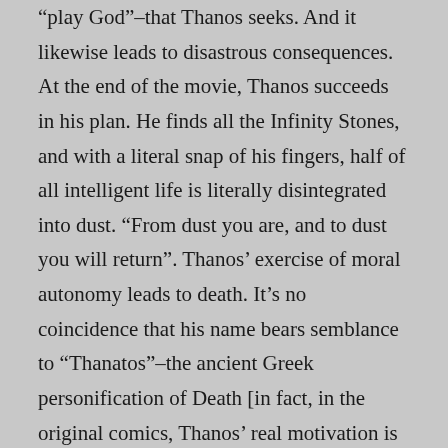“play God”–that Thanos seeks. And it likewise leads to disastrous consequences. At the end of the movie, Thanos succeeds in his plan. He finds all the Infinity Stones, and with a literal snap of his fingers, half of all intelligent life is literally disintegrated into dust. “From dust you are, and to dust you will return”. Thanos’ exercise of moral autonomy leads to death. It’s no coincidence that his name bears semblance to “Thanatos”–the ancient Greek personification of Death [in fact, in the original comics, Thanos’ real motivation is to please “Mistress Death”, another personification of our fate].
Why should this matter to us? Because as the saying goes, “art imitates life.” Stories, and films, have always